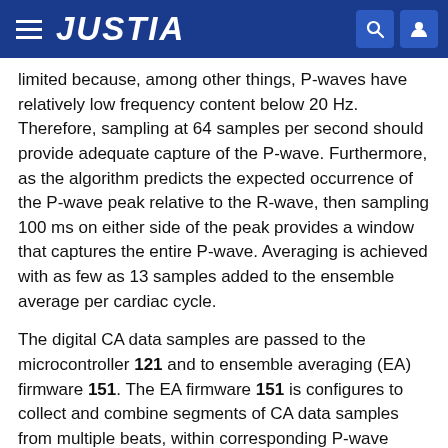JUSTIA
limited because, among other things, P-waves have relatively low frequency content below 20 Hz. Therefore, sampling at 64 samples per second should provide adequate capture of the P-wave. Furthermore, as the algorithm predicts the expected occurrence of the P-wave peak relative to the R-wave, then sampling 100 ms on either side of the peak provides a window that captures the entire P-wave. Averaging is achieved with as few as 13 samples added to the ensemble average per cardiac cycle.
The digital CA data samples are passed to the microcontroller 121 and to ensemble averaging (EA) firmware 151. The EA firmware 151 is configures to collect and combine segments of CA data samples from multiple beats, within corresponding P-wave search windows. For example, the EA firmware 151 may average together CA data samples from 2-16 beats. As further